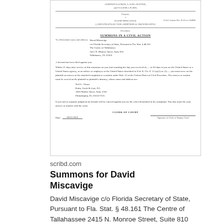[Figure (screenshot): Scanned legal document: Summons in a Civil Action addressed to David Miscavige c/o Florida Secretary of State, Pursuant to Fla. Stat. § 48.161, The Centre of Tallahassee, 2415 N. Monroe Street, Suite 810, Tallahassee, FL 32303. Signed by Clerk of Court, dated 09/21/2022.]
scribd.com
Summons for David Miscavige
David Miscavige c/o Florida Secretary of State, Pursuant to Fla. Stat. § 48.161 The Centre of Tallahassee 2415 N. Monroe Street, Suite 810 Tallahassee, FL 32303